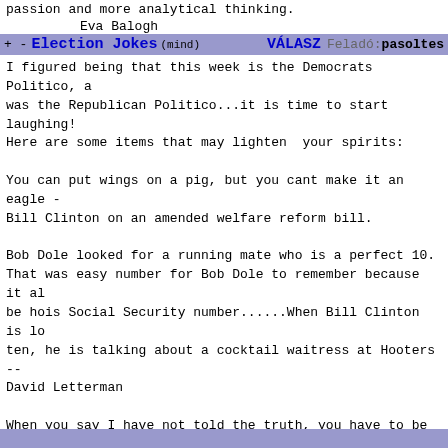passion and more analytical thinking.
Eva Balogh
+ - Election Jokes (mind)   VÁLASZ Feladó: pasoltes
I figured being that this week is the Democrats Politico, a was the Republican Politico...it is time to start laughing! Here are some items that may lighten  your spirits:

You can put wings on a pig, but you cant make it an eagle - Bill Clinton on an amended welfare reform bill.

Bob Dole looked for a running mate who is a perfect 10. That was easy number for Bob Dole to remember because it al be hois Social Security number......When Bill Clinton is lo ten, he is talking about a cocktail waitress at Hooters -- David Letterman

When you say I have not told the truth, you have to be spec Cong.. Wes Cooley (R-OR)

Do you know what you call it when a gymnast completely reve and lands on his feet??
That is called a Bill Clinton --- Jay Leno

Am I Right?  --  Ross Perot

Fear is the foundation of most governments --- John Adams

A leader is a dealer in hope --- Napoleon Bonaparte

<<end >>